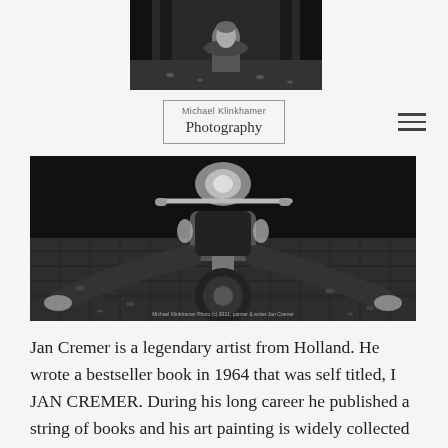[Figure (photo): Black and white portrait photo of a man outdoors among trees and a cobblestone path]
Michael Klinkhamer Photography
[Figure (photo): Black and white photo of Jan Cremer sitting behind a motorcycle on a cobblestone street with autumn leaves. Caption reads: Michael Klinkhamer Photo (c) 2011, painter & writer Jan Cremer]
Jan Cremer is a legendary artist from Holland. He wrote a bestseller book in 1964 that was self titled, I JAN CREMER. During his long career he published a string of books and his art painting is widely collected around the